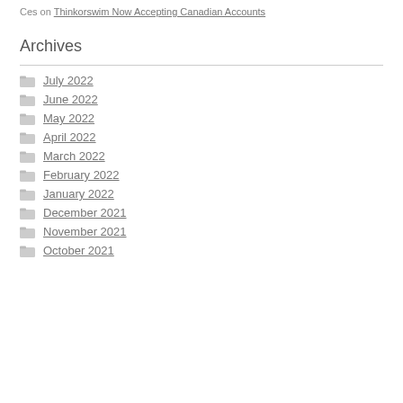Ces on Thinkorswim Now Accepting Canadian Accounts
Archives
July 2022
June 2022
May 2022
April 2022
March 2022
February 2022
January 2022
December 2021
November 2021
October 2021